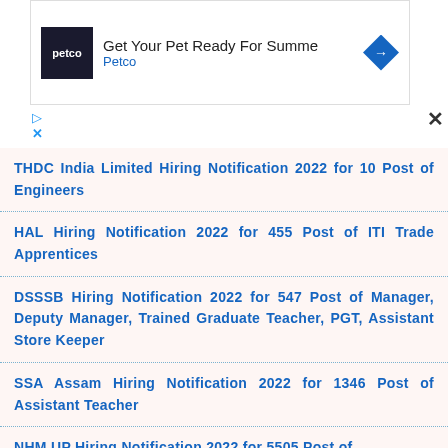[Figure (other): Petco advertisement banner with logo and 'Get Your Pet Ready For Summe' text]
THDC India Limited Hiring Notification 2022 for 10 Post of Engineers
HAL Hiring Notification 2022 for 455 Post of ITI Trade Apprentices
DSSSB Hiring Notification 2022 for 547 Post of Manager, Deputy Manager, Trained Graduate Teacher, PGT, Assistant Store Keeper
SSA Assam Hiring Notification 2022 for 1346 Post of Assistant Teacher
NHM UP Hiring Notification 2022 for 5505 Post of